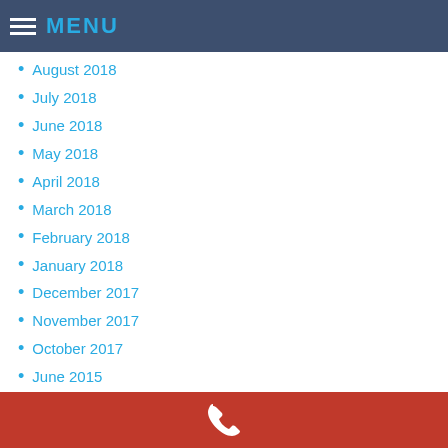MENU
August 2018
July 2018
June 2018
May 2018
April 2018
March 2018
February 2018
January 2018
December 2017
November 2017
October 2017
June 2015
May 2015
September 2014
Categories
Uncategorized